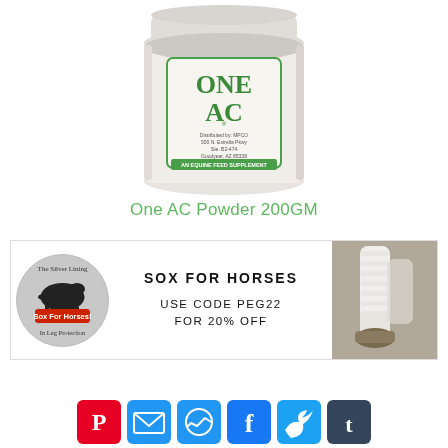[Figure (photo): Photo of One AC Powder 200GM product jar - white cylindrical container with green label reading ONE AC, an equine feed supplement, distributed by MPCO]
One AC Powder 200GM
[Figure (infographic): Sox For Horses advertisement banner with circular logo, text SOX FOR HORSES USE CODE PEG22 FOR 20% OFF, and photo of horse legs wearing white socks]
[Figure (infographic): Row of social media sharing icons: Pinterest, Email, Messenger, Facebook, Twitter, Tumblr]